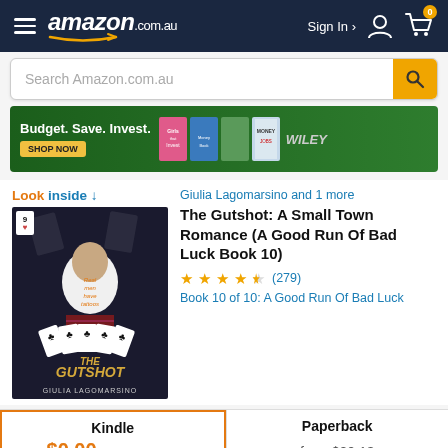amazon.com.au — Sign In — Cart (0)
[Figure (screenshot): Amazon.com.au navigation header with hamburger menu, Amazon logo, Sign In button, and cart icon showing 0 items]
[Figure (screenshot): Search bar with placeholder text 'Search Amazon.com.au' and orange search button]
[Figure (screenshot): Advertisement banner: Budget. Save. Invest. with book covers and SHOP NOW button, Wiley logo]
Look inside ↓
[Figure (photo): Book cover for 'The Gutshot' by Giulia Lagomarsino showing a man in a white shirt holding playing cards]
Giulia Lagomarsino and 1 more
The Gutshot: A Small Town Romance (A Good Run Of Bad Luck Book 10)
★★★★½ (279)
Book 10 of 10: A Good Run Of Bad Luck
| Kindle | Paperback |
| --- | --- |
| $0.00 kindleunlimited
or $7.03 to buy | from $20.13 |